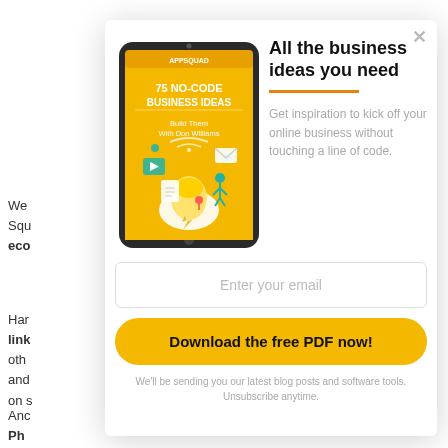We
Squ
eco
Har
link
oth
and
on s
Anc
Ph
[Figure (illustration): Tablet/iPad showing book cover: '75 No-Code Business Ideas — Build Them With Don Williams' on yellow background with illustrated icons]
All the business ideas you need
Get inspiration to kick off your online business without touching a line of code.
Enter your email
Download the free PDF now!
We'll be sending you our latest blog posts and software tools. Unsubscribe anytime.